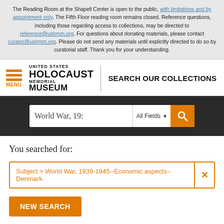The Reading Room at the Shapell Center is open to the public, with limitations and by appointment only. The Fifth Floor reading room remains closed. Reference questions, including those regarding access to collections, may be directed to reference@ushmm.org. For questions about donating materials, please contact curator@ushmm.org. Please do not send any materials until explicitly directed to do so by curatorial staff. Thank you for your understanding.
[Figure (logo): United States Holocaust Memorial Museum logo with hamburger menu and SEARCH OUR COLLECTIONS text]
[Figure (screenshot): Search bar with text 'World War, 19:' and 'All Fields' dropdown on dark background]
You searched for:
Subject > World War, 1939-1945--Economic aspects--Denmark.
NEW SEARCH